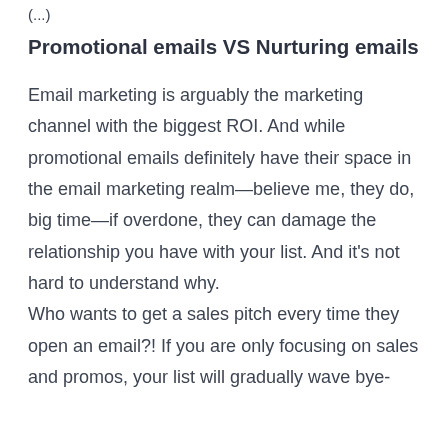(...)
Promotional emails VS Nurturing emails
Email marketing is arguably the marketing channel with the biggest ROI. And while promotional emails definitely have their space in the email marketing realm—believe me, they do, big time—if overdone, they can damage the relationship you have with your list. And it's not hard to understand why.
Who wants to get a sales pitch every time they open an email?! If you are only focusing on sales and promos, your list will gradually wave bye-